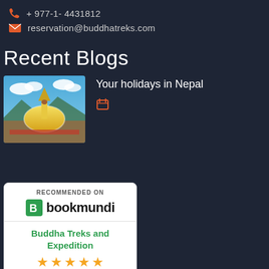+ 977-1- 4431812
reservation@buddhatreks.com
Recent Blogs
[Figure (photo): Boudhanath Stupa in Kathmandu, Nepal with blue sky and clouds in the background]
Your holidays in Nepal
[Figure (infographic): Bookmundi recommendation badge with green logo and text 'RECOMMENDED ON bookmundi'. Below: Buddha Treks and Expedition with 4.5 stars and 'Based on 72 reviews']